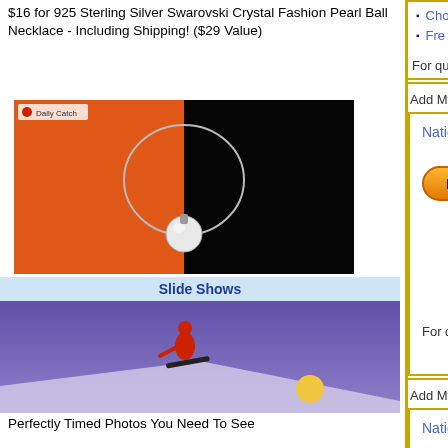$16 for 925 Sterling Silver Swarovski Crystal Fashion Pearl Ball Necklace - Including Shipping! ($29 Value)
[Figure (photo): Pearl ball necklace on orange/dark background with Daily Catch logo]
Slide Shows
[Figure (photo): Snowboarder silhouetted against purple/blue sky with moon]
Perfectly Timed Photos You Need To See
Add My Daily Catch
National
$19 for ... Including...
For questions or to ord...
Add My Daily Catch
National
$12 for ... Necklac...
For questions or to ord...